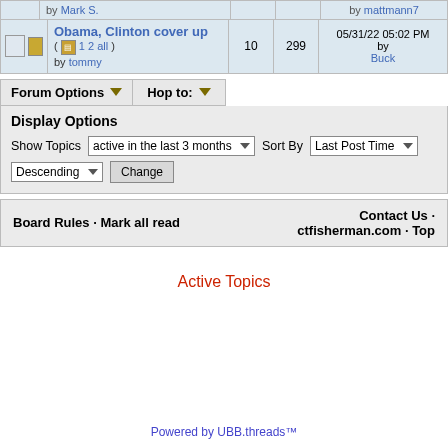| [icon] | Obama, Clinton cover up
( [page] 1 2 all )
by tommy | 10 | 299 | 05/31/22 05:02 PM
by Buck |
Forum Options ▾   Hop to: ▾
Display Options
Show Topics  active in the last 3 months ▾   Sort By  Last Post Time ▾
Descending ▾   Change
Board Rules · Mark all read
Contact Us · ctfisherman.com · Top
Active Topics
Powered by UBB.threads™